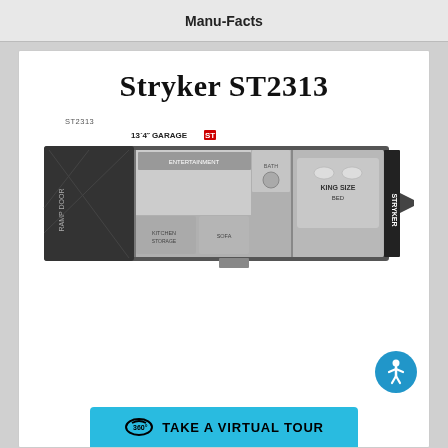Manu-Facts
Stryker ST2313
[Figure (schematic): Floor plan diagram of the Stryker ST2313 RV/toy hauler showing a 13'4" garage section on the left with a ramp door, living/kitchen area in the middle, and a king size bed area on the right. The unit label ST2313 appears above the floor plan.]
TAKE A VIRTUAL TOUR